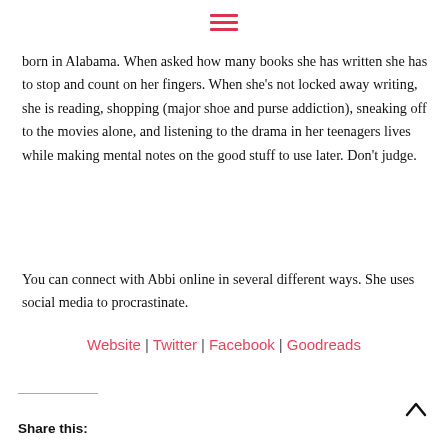[Figure (other): Hamburger menu icon (three horizontal red lines)]
born in Alabama. When asked how many books she has written she has to stop and count on her fingers. When she’s not locked away writing, she is reading, shopping (major shoe and purse addiction), sneaking off to the movies alone, and listening to the drama in her teenagers lives while making mental notes on the good stuff to use later. Don’t judge.
You can connect with Abbi online in several different ways. She uses social media to procrastinate.
Website | Twitter | Facebook | Goodreads
Share this: